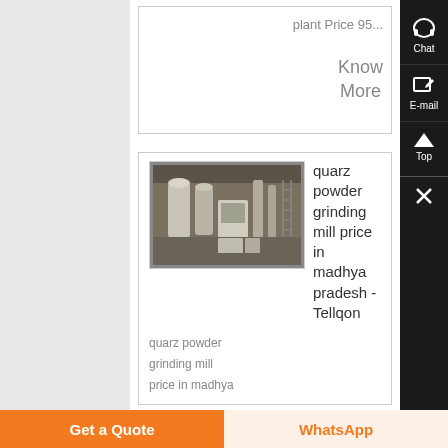plant Price 95...
Know More
[Figure (photo): Industrial quartz powder grinding mill machinery inside a factory/warehouse]
quarz powder grinding mill price in madhya pradesh - Tellqon
quarz powder
grinding mill
price in madhya
Get a Quote
WhatsApp